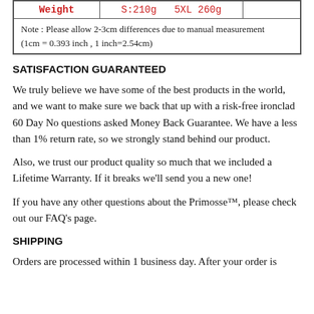| Weight | S:210g   5XL 260g |  |
| --- | --- | --- |
| Note : Please allow 2-3cm differences due to manual measurement
(1cm = 0.393 inch , 1 inch=2.54cm) |  |  |
SATISFACTION GUARANTEED
We truly believe we have some of the best products in the world, and we want to make sure we back that up with a risk-free ironclad 60 Day No questions asked Money Back Guarantee. We have a less than 1% return rate, so we strongly stand behind our product.
Also, we trust our product quality so much that we included a Lifetime Warranty. If it breaks we'll send you a new one!
If you have any other questions about the Primosse™, please check out our FAQ's page.
SHIPPING
Orders are processed within 1 business day. After your order is